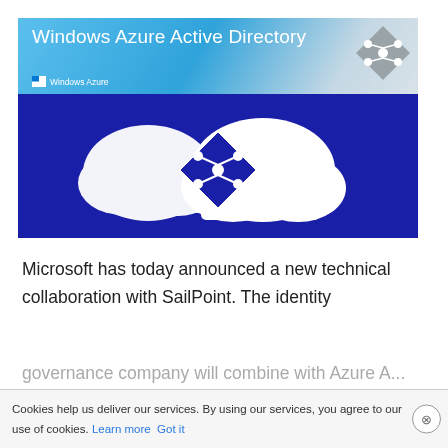[Figure (illustration): Windows Azure Active Directory banner image showing two overlapping white clouds on a dark blue background, with a dark blue diamond-shaped network/directory icon in the center. The top header has a light blue gradient with the text 'Windows Azure Active Directory' and a gray diamond logo in the upper right, plus a 'Windows Azure' subtitle with flag icon.]
Microsoft has today announced a new technical collaboration with SailPoint. The identity governance company will combine with Azure A...
Cookies help us deliver our services. By using our services, you agree to our use of cookies. Learn more Got it